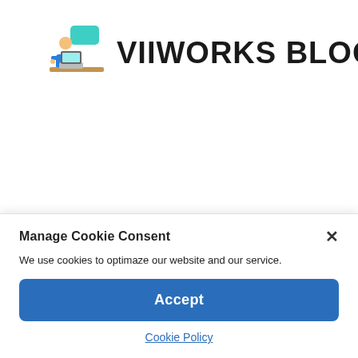[Figure (logo): VIIWORKS BLOG logo: cartoon person at laptop with teal speech bubble, next to bold black text 'VIIWORKS BLOG']
Manage Cookie Consent
We use cookies to optimaze our website and our service.
Accept
Cookie Policy